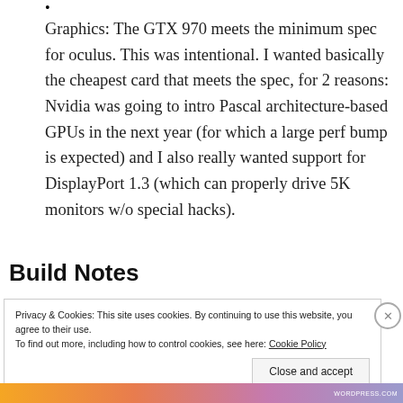Graphics: The GTX 970 meets the minimum spec for oculus. This was intentional. I wanted basically the cheapest card that meets the spec, for 2 reasons: Nvidia was going to intro Pascal architecture-based GPUs in the next year (for which a large perf bump is expected) and I also really wanted support for DisplayPort 1.3 (which can properly drive 5K monitors w/o special hacks).
Build Notes
Privacy & Cookies: This site uses cookies. By continuing to use this website, you agree to their use.
To find out more, including how to control cookies, see here: Cookie Policy